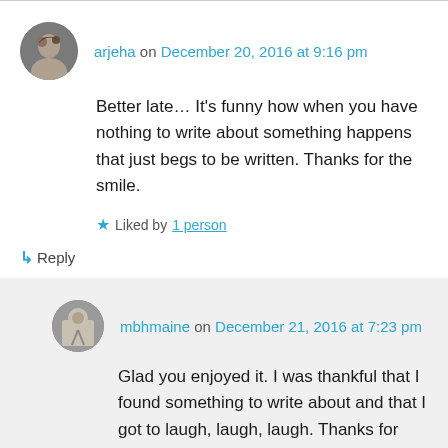arjeha on December 20, 2016 at 9:16 pm
Better late… It's funny how when you have nothing to write about something happens that just begs to be written. Thanks for the smile.
Liked by 1 person
↳ Reply
mbhmaine on December 21, 2016 at 7:23 pm
Glad you enjoyed it. I was thankful that I found something to write about and that I got to laugh, laugh, laugh. Thanks for stopping by.